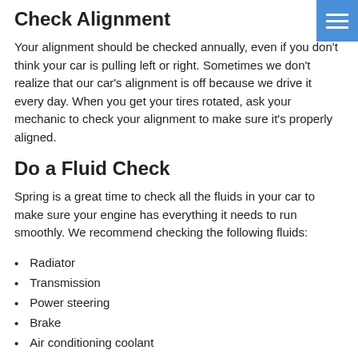Check Alignment
Your alignment should be checked annually, even if you don't think your car is pulling left or right. Sometimes we don't realize that our car's alignment is off because we drive it every day. When you get your tires rotated, ask your mechanic to check your alignment to make sure it's properly aligned.
Do a Fluid Check
Spring is a great time to check all the fluids in your car to make sure your engine has everything it needs to run smoothly. We recommend checking the following fluids:
Radiator
Transmission
Power steering
Brake
Air conditioning coolant
Windshield washer
Most of these can be easily checked at home, but if you're uncomfortable checking them yourself, give us a call!